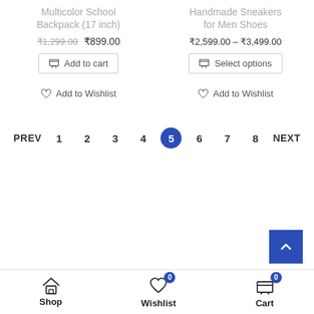Multicolor School Backpack (17 inch)
₹1,299.00 ₹899.00
Add to cart
Add to Wishlist
Handmade Sneakers for Men Shoes
₹2,599.00 – ₹3,499.00
Select options
Add to Wishlist
PREV 1 2 3 4 5 6 7 8 NEXT
Shop   Wishlist 0   Cart 0